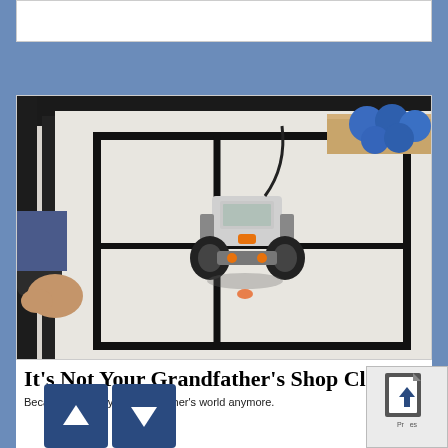[Figure (photo): A LEGO Mindstorms robot navigating a course with black lines on a white surface. A person's hand is visible at the left edge. Blue balls visible in the background.]
It's Not Your Grandfather's Shop Class!
Because it is not your grandfather's world anymore.